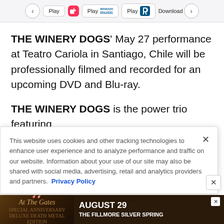◀ Play [Apple Music] Play [Amazon Music] Play [Pandora] Download ▶
THE WINERY DOGS' May 27 performance at Teatro Cariola in Santiago, Chile will be professionally filmed and recorded for an upcoming DVD and Blu-ray.
THE WINERY DOGS is the power trio featuring
This website uses cookies and other tracking technologies to enhance user experience and to analyze performance and traffic on our website. Information about your use of our site may also be shared with social media, advertising, retail and analytics providers and partners. Privacy Policy
[Figure (screenshot): Advertisement banner for 'At The Gates' concert at The Fillmore Silver Spring on August 29]